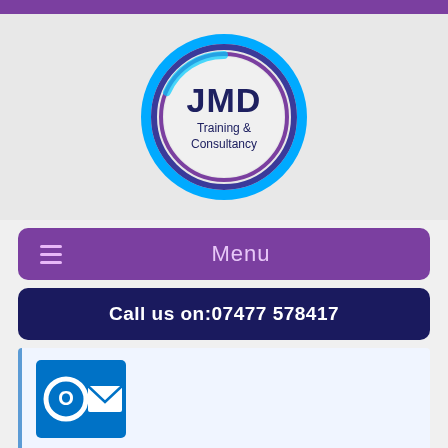[Figure (logo): JMD Training & Consultancy circular logo with blue and purple rings]
Menu
Call us on:07477 578417
[Figure (logo): Microsoft Outlook icon - blue square with O and envelope]
Microsoft Outlook Training Courses London